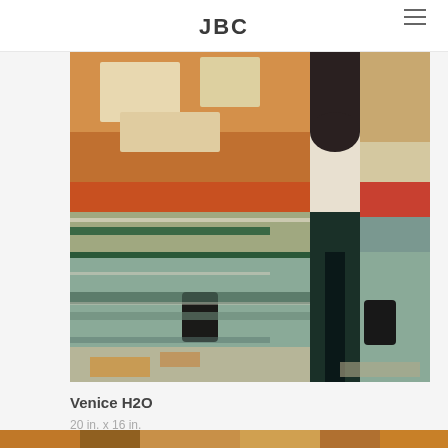JBC
[Figure (illustration): Oil painting titled Venice H2O — an impressionist close-up of a Venetian canal scene with textured impasto brushwork. Shows an architectural element (white arch/wall) with dark canal water below reflecting a post or piling, orange and ochre wall surfaces, teal-green water reflections, and dark bollard-like objects at the bottom. Heavy palette knife texture throughout.]
Venice H2O
20 in. x 16 in.
oil on canvas